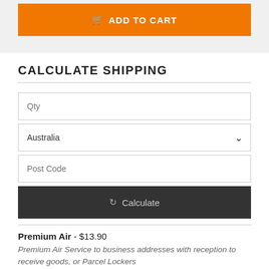[Figure (screenshot): Orange ADD TO CART button with shopping cart icon]
CALCULATE SHIPPING
[Figure (screenshot): Shipping calculator form with Qty input, Australia country dropdown, Post Code input, and Calculate button]
Premium Air - $13.90
Premium Air Service to business addresses with reception to receive goods, or Parcel Lockers